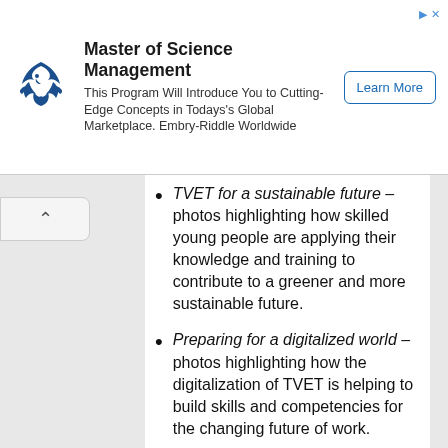[Figure (other): Advertisement banner for Embry-Riddle Worldwide Master of Science Management program, with eagle logo, title, subtitle text, and Learn More button.]
TVET for a sustainable future – photos highlighting how skilled young people are applying their knowledge and training to contribute to a greener and more sustainable future.
Preparing for a digitalized world – photos highlighting how the digitalization of TVET is helping to build skills and competencies for the changing future of work.
Skills for inclusive growth – photos highlighting the importance of ensuring equal access to innovative,